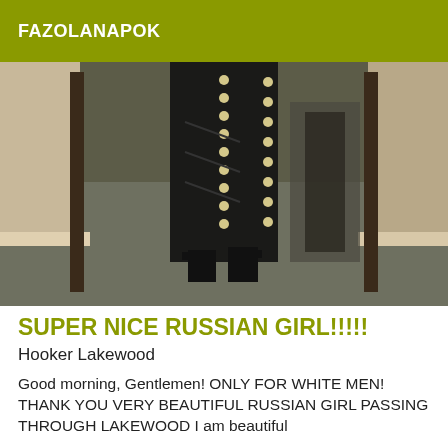FAZOLANAPOK
[Figure (photo): Dark photograph showing lower half of a person in a long dark dress with button detail standing in a hallway, wearing black high heel platform shoes, with a mirror reflection visible, carpet floor visible]
SUPER NICE RUSSIAN GIRL!!!!!
Hooker Lakewood
Good morning, Gentlemen! ONLY FOR WHITE MEN! THANK YOU VERY BEAUTIFUL RUSSIAN GIRL PASSING THROUGH LAKEWOOD I am beautiful